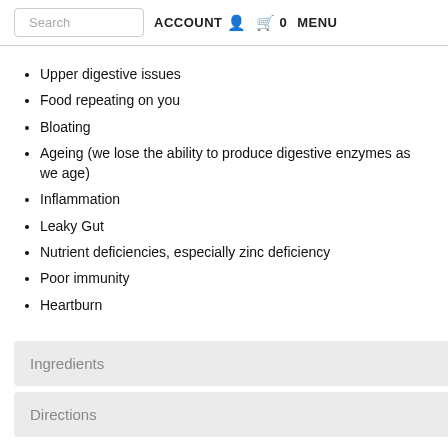Search  ACCOUNT  0  MENU
Upper digestive issues
Food repeating on you
Bloating
Ageing (we lose the ability to produce digestive enzymes as we age)
Inflammation
Leaky Gut
Nutrient deficiencies, especially zinc deficiency
Poor immunity
Heartburn
Ingredients
Directions